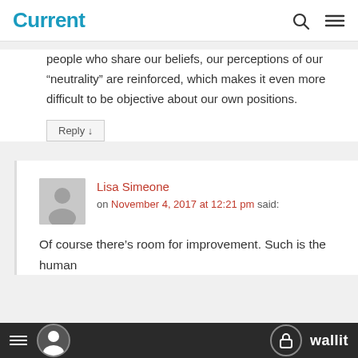Current
people who share our beliefs, our perceptions of our “neutrality” are reinforced, which makes it even more difficult to be objective about our own positions.
Reply ↓
Lisa Simeone on November 4, 2017 at 12:21 pm said:
Of course there’s room for improvement. Such is the human
wallit